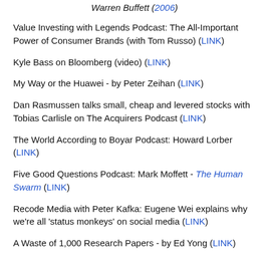Warren Buffett (2006)
Value Investing with Legends Podcast: The All-Important Power of Consumer Brands (with Tom Russo) (LINK)
Kyle Bass on Bloomberg (video) (LINK)
My Way or the Huawei - by Peter Zeihan (LINK)
Dan Rasmussen talks small, cheap and levered stocks with Tobias Carlisle on The Acquirers Podcast (LINK)
The World According to Boyar Podcast: Howard Lorber (LINK)
Five Good Questions Podcast: Mark Moffett - The Human Swarm (LINK)
Recode Media with Peter Kafka: Eugene Wei explains why we're all 'status monkeys' on social media (LINK)
A Waste of 1,000 Research Papers - by Ed Yong (LINK)